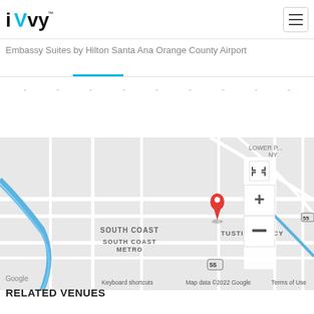iVvy
Embassy Suites by Hilton Santa Ana Orange County Airport
[Figure (map): Google Maps view showing a red location pin marker near route 55, with labels for South Coast, South Coast Metro, and Tustin Legacy neighborhoods. Map controls (zoom in/out, fullscreen) visible on right side. Footer shows: Keyboard shortcuts, Map data ©2022 Google, Terms of Use.]
RELATED VENUES